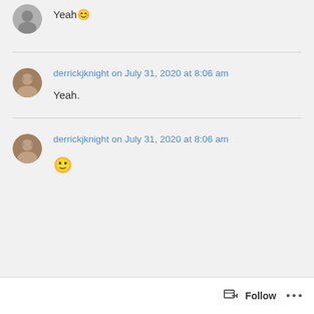Yeah 😊
derrickjknight on July 31, 2020 at 8:06 am
Yeah.
derrickjknight on July 31, 2020 at 8:06 am
🙂
Follow ...